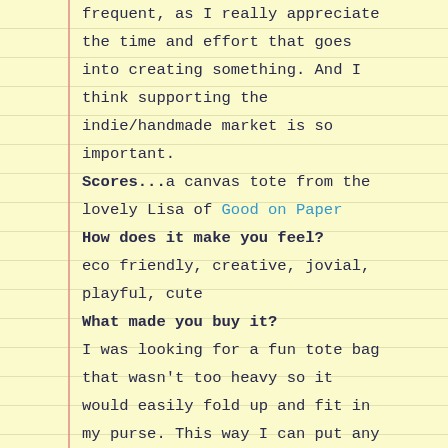frequent, as I really appreciate the time and effort that goes into creating something. And I think supporting the indie/handmade market is so important.
Scores...a canvas tote from the lovely Lisa of Good on Paper
How does it make you feel?
eco friendly, creative, jovial, playful, cute
What made you buy it?
I was looking for a fun tote bag that wasn't too heavy so it would easily fold up and fit in my purse. This way I can put any purchases I make in the tote bag instead of using a plastic shopping bag from the store. This one was perfect, and super cute too!